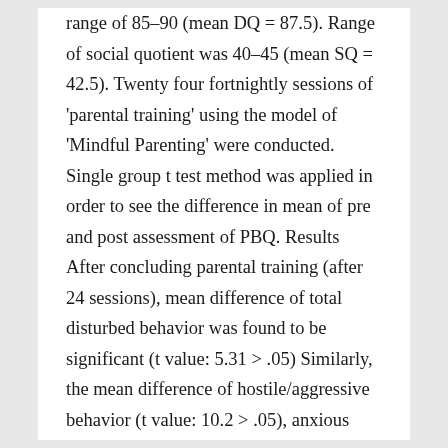range of 85–90 (mean DQ = 87.5). Range of social quotient was 40–45 (mean SQ = 42.5). Twenty four fortnightly sessions of 'parental training' using the model of 'Mindful Parenting' were conducted. Single group t test method was applied in order to see the difference in mean of pre and post assessment of PBQ. Results After concluding parental training (after 24 sessions), mean difference of total disturbed behavior was found to be significant (t value: 5.31 > .05) Similarly, the mean difference of hostile/aggressive behavior (t value: 10.2 > .05), anxious behavior (t value: 18.5 > .05), and